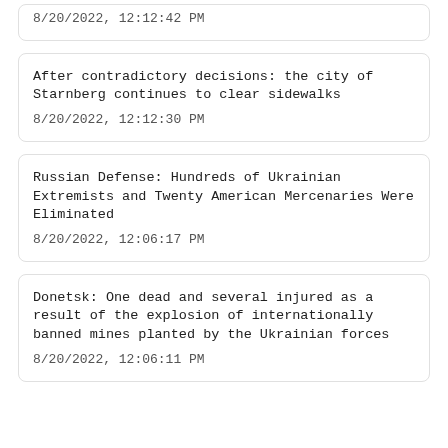8/20/2022, 12:12:42 PM
After contradictory decisions: the city of Starnberg continues to clear sidewalks
8/20/2022, 12:12:30 PM
Russian Defense: Hundreds of Ukrainian Extremists and Twenty American Mercenaries Were Eliminated
8/20/2022, 12:06:17 PM
Donetsk: One dead and several injured as a result of the explosion of internationally banned mines planted by the Ukrainian forces
8/20/2022, 12:06:11 PM